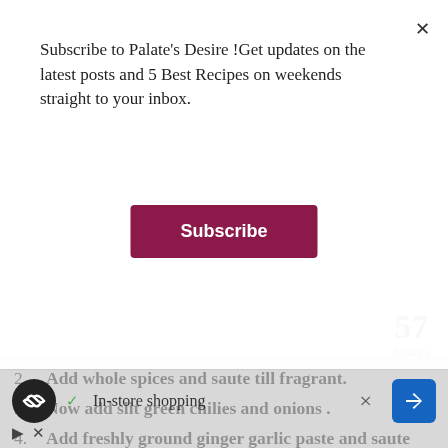Subscribe to Palate's Desire !Get updates on the latest posts and 5 Best Recipes on weekends straight to your inbox.
Subscribe
2. Add whole spices and saute till fragrant.
3. Now add slit green chilies and onions .
4. Add freshly ground ginger garlic paste and saute till raw smell goes off completely.
5. Add mint leaves and fry well , till onion
57
Shares
In-store shopping